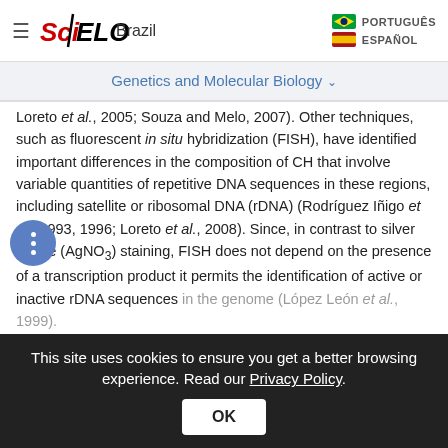SciELO Brazil | PORTUGUÊS | ESPAÑOL
Genetics and Molecular Biology
Loreto et al., 2005; Souza and Melo, 2007). Other techniques, such as fluorescent in situ hybridization (FISH), have identified important differences in the composition of CH that involve variable quantities of repetitive DNA sequences in these regions, including satellite or ribosomal DNA (rDNA) (Rodríguez Iñigo et al., 1993, 1996; Loreto et al., 2008). Since, in contrast to silver nitrate (AgNO3) staining, FISH does not depend on the presence of a transcription product it permits the identification of active or inactive rDNA sequences in the genome (López León et al., 1999).
This site uses cookies to ensure you get a better browsing experience. Read our Privacy Policy.